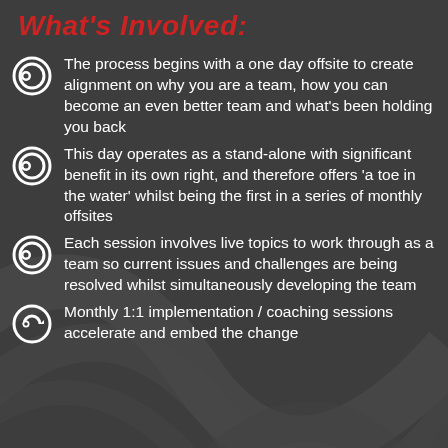What's Involved:
The process begins with a one day offsite to create alignment on why you are a team, how you can become an even better team and what's been holding you back
This day operates as a stand-alone with significant benefit in its own right, and therefore offers 'a toe in the water' whilst being the first in a series of monthly offsites
Each session involves live topics to work through as a team so current issues and challenges are being resolved whilst simultaneously developing the team
Monthly 1:1 implementation / coaching sessions accelerate and embed the change